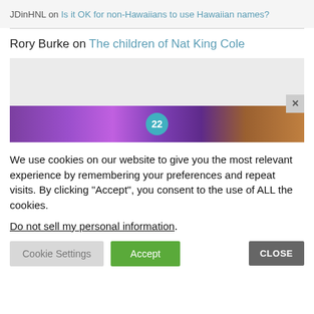JDinHNL on Is it OK for non-Hawaiians to use Hawaiian names?
Rory Burke on The children of Nat King Cole
[Figure (photo): Advertisement banner showing purple headphones with a teal badge showing '22' and a close button]
We use cookies on our website to give you the most relevant experience by remembering your preferences and repeat visits. By clicking “Accept”, you consent to the use of ALL the cookies.
Do not sell my personal information.
Cookie Settings   Accept   CLOSE